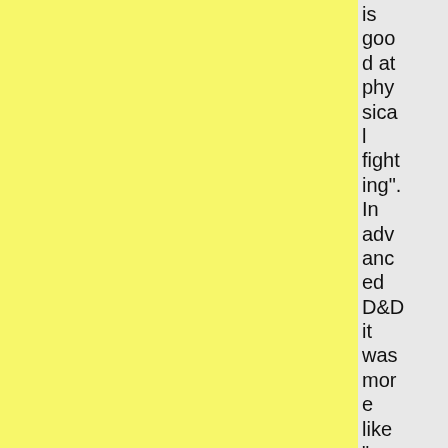[Figure (other): Yellow colored background column on the left portion of the page]
[Figure (other): Gray colored background column in the middle-right portion of the page]
is good at physical fighting". In advanced D&D it was more like "guy who is good at